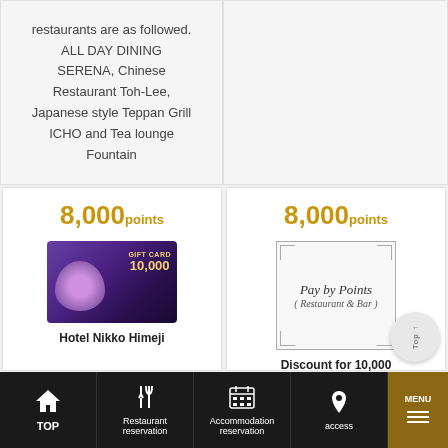restaurants are as followed. ALL DAY DINING SERENA, Chinese Restaurant Toh-Lee, Japanese style Teppan Grill ICHO and Tea lounge Fountain
[Figure (other): Empty right panel in top section]
8,000 points
[Figure (photo): Hotel Nikko Himeji gift card image showing 10,000 amount with purple decorative design]
Hotel Nikko Himeji
8,000 points
[Figure (illustration): Pay by Points (Restaurant & Bar) decorative card image with corner ornaments]
Discount for 10,000
TOP | Restaurant reservation | Accommodation reservation | access | MENU